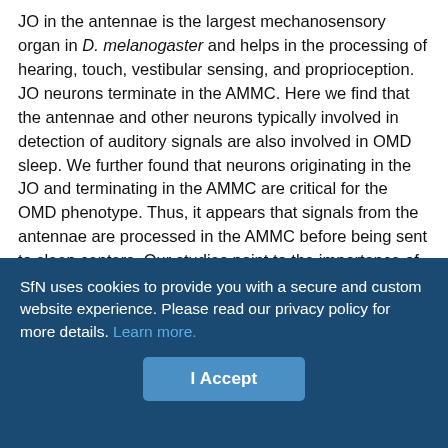JO in the antennae is the largest mechanosensory organ in D. melanogaster and helps in the processing of hearing, touch, vestibular sensing, and proprioception. JO neurons terminate in the AMMC. Here we find that the antennae and other neurons typically involved in detection of auditory signals are also involved in OMD sleep. We further found that neurons originating in the JO and terminating in the AMMC are critical for the OMD phenotype. Thus, it appears that signals from the antennae are processed in the AMMC before being sent to sleep centers. Our studies point to the importance of at least two areas of JO (A and B) in inducing sleep by mechanosensation, each having distinct roles: homeostatic control and sleep induction, respectively. Differences in the responses elicited by silencing area B by the two drivers JO15GAL4 and
SfN uses cookies to provide you with a secure and custom website experience. Please read our privacy policy for more details. Learn more.